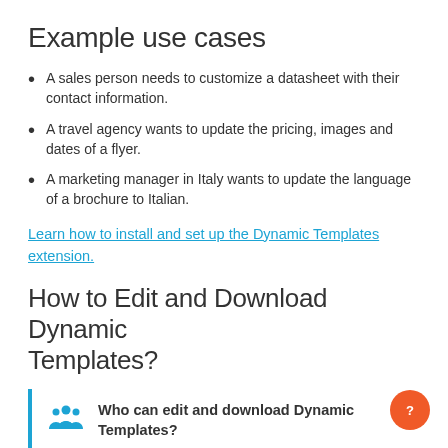Example use cases
A sales person needs to customize a datasheet with their contact information.
A travel agency wants to update the pricing, images and dates of a flyer.
A marketing manager in Italy wants to update the language of a brochure to Italian.
Learn how to install and set up the Dynamic Templates extension.
How to Edit and Download Dynamic Templates?
Who can edit and download Dynamic Templates?
Users with download permission to a folder containing Dynamic Templates have the ability to edit and